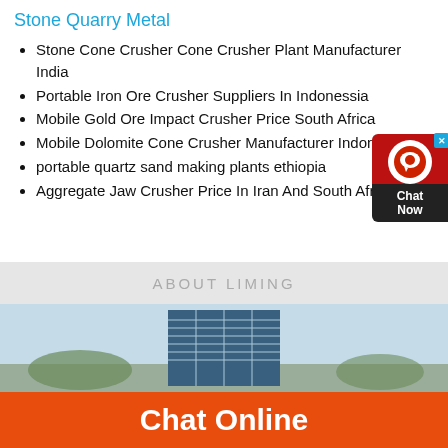Stone Quarry Metal
Stone Cone Crusher Cone Crusher Plant Manufacturer India
Portable Iron Ore Crusher Suppliers In Indonessia
Mobile Gold Ore Impact Crusher Price South Africa
Mobile Dolomite Cone Crusher Manufacturer Indoness
portable quartz sand making plants ethiopia
Aggregate Jaw Crusher Price In Iran And South Africa
ABOUT LIMING
[Figure (photo): Photo of a modern blue glass office building against a light sky, with trees and buildings in the background.]
Chat Online